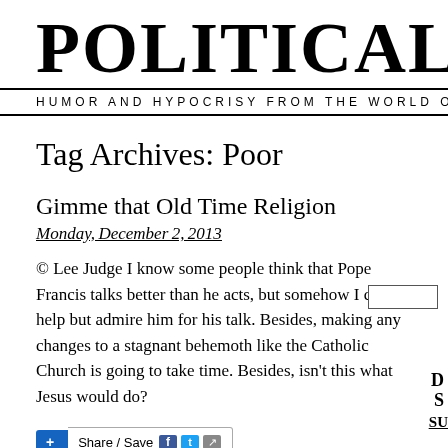POLITICAL IRO
HUMOR AND HYPOCRISY FROM THE WORLD O
Tag Archives: Poor
Gimme that Old Time Religion
Monday, December 2, 2013
© Lee Judge I know some people think that Pope Francis talks better than he acts, but somehow I can't help but admire him for his talk. Besides, making any changes to a stagnant behemoth like the Catholic Church is going to take time. Besides, isn't this what Jesus would do?
Share / Save